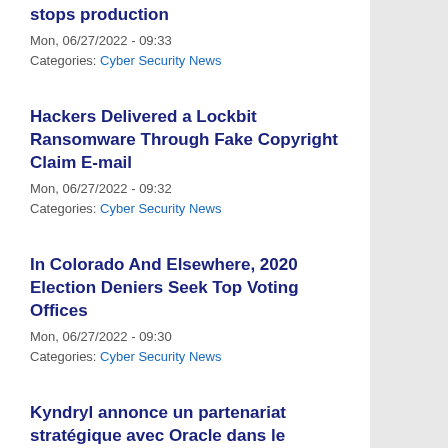stops production
Mon, 06/27/2022 - 09:33
Categories: Cyber Security News
Hackers Delivered a Lockbit Ransomware Through Fake Copyright Claim E-mail
Mon, 06/27/2022 - 09:32
Categories: Cyber Security News
In Colorado And Elsewhere, 2020 Election Deniers Seek Top Voting Offices
Mon, 06/27/2022 - 09:30
Categories: Cyber Security News
Kyndryl annonce un partenariat stratégique avec Oracle dans le